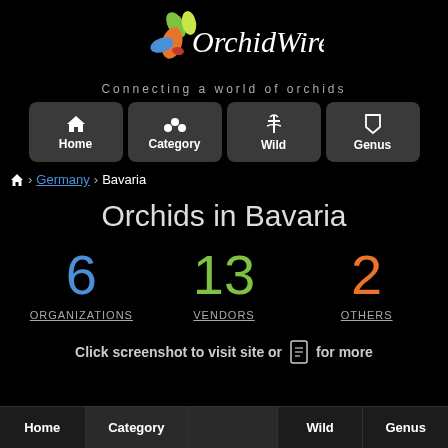[Figure (logo): OrchidWire logo with colorful hummingbird/leaves icon and italic text 'OrchidWire']
Connecting a world of orchids
[Figure (infographic): Navigation bar with four buttons: Home, Category, Wild, Genus with icons]
Home > Germany > Bavaria
Orchids in Bavaria
6 ORGANIZATIONS
13 VENDORS
2 OTHERS
Click screenshot to visit site or [icon] for more
Home  Category  Wild  Genus